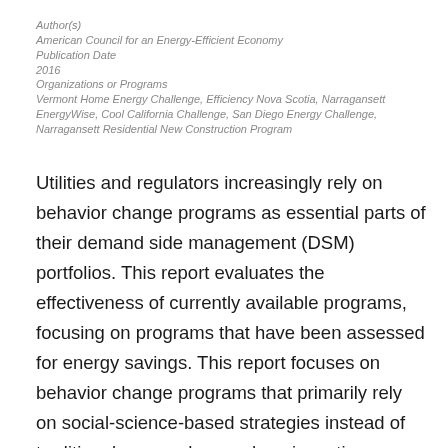Author(s)
American Council for an Energy-Efficient Economy
Publication Date
2016
Organizations or Programs
Vermont Home Energy Challenge, Efficiency Nova Scotia, Narragansett EnergyWise, Cool California Challenge, San Diego Energy Challenge, Narragansett Residential New Construction Program
Utilities and regulators increasingly rely on behavior change programs as essential parts of their demand side management (DSM) portfolios. This report evaluates the effectiveness of currently available programs, focusing on programs that have been assessed for energy savings. This report focuses on behavior change programs that primarily rely on social-science-based strategies instead of traditional approaches such as incentives, rebates, pricing, or legal and policy strategies. The objective is to help program administrators choose effective behavior change programs for their specific purposes.